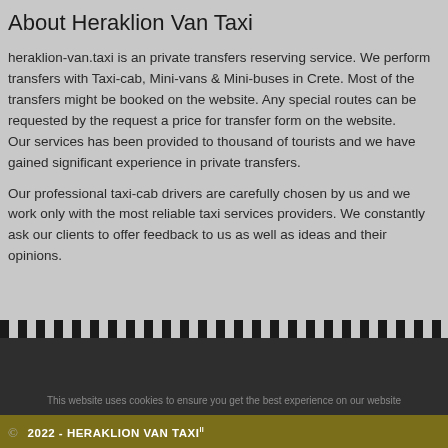About Heraklion Van Taxi
heraklion-van.taxi is an private transfers reserving service. We perform transfers with Taxi-cab, Mini-vans & Mini-buses in Crete. Most of the transfers might be booked on the website. Any special routes can be requested by the request a price for transfer form on the website.
Our services has been provided to thousand of tourists and we have gained significant experience in private transfers.
Our professional taxi-cab drivers are carefully chosen by us and we work only with the most reliable taxi services providers. We constantly ask our clients to offer feedback to us as well as ideas and their opinions.
This website uses cookies to ensure you get the best experience on our website
© 2022 - HERAKLION VAN TAXI